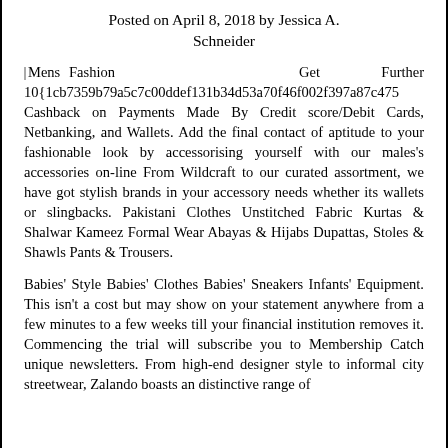Posted on April 8, 2018 by Jessica A. Schneider
[Mens Fashion] Get Further 10{1cb7359b79a5c7c00ddef131b34d53a70f46f002f397a87c475 Cashback on Payments Made By Credit score/Debit Cards, Netbanking, and Wallets. Add the final contact of aptitude to your fashionable look by accessorising yourself with our males's accessories on-line From Wildcraft to our curated assortment, we have got stylish brands in your accessory needs whether its wallets or slingbacks. Pakistani Clothes Unstitched Fabric Kurtas & Shalwar Kameez Formal Wear Abayas & Hijabs Dupattas, Stoles & Shawls Pants & Trousers.
Babies' Style Babies' Clothes Babies' Sneakers Infants' Equipment. This isn't a cost but may show on your statement anywhere from a few minutes to a few weeks till your financial institution removes it. Commencing the trial will subscribe you to Membership Catch unique newsletters. From high-end designer style to informal city streetwear, Zalando boasts an distinctive range of